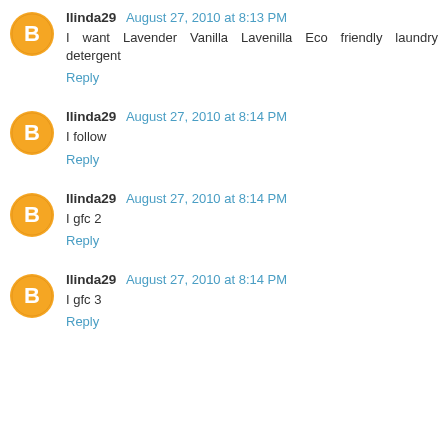llinda29 August 27, 2010 at 8:13 PM
I want Lavender Vanilla Lavenilla Eco friendly laundry detergent
Reply
llinda29 August 27, 2010 at 8:14 PM
I follow
Reply
llinda29 August 27, 2010 at 8:14 PM
I gfc 2
Reply
llinda29 August 27, 2010 at 8:14 PM
I gfc 3
Reply